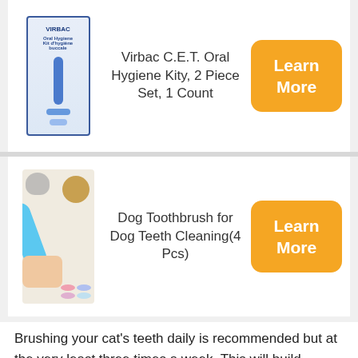[Figure (photo): Virbac C.E.T. Oral Hygiene Kit product packaging photo showing a toothbrush and toothpaste]
Virbac C.E.T. Oral Hygiene Kity, 2 Piece Set, 1 Count
[Figure (other): Orange Learn More button]
[Figure (photo): Dog Toothbrush for Dog Teeth Cleaning product photo showing a blue finger toothbrush, a cat, a dog, and colorful bowls]
Dog Toothbrush for Dog Teeth Cleaning(4 Pcs)
[Figure (other): Orange Learn More button]
Brushing your cat's teeth daily is recommended but at the very least three times a week. This will build